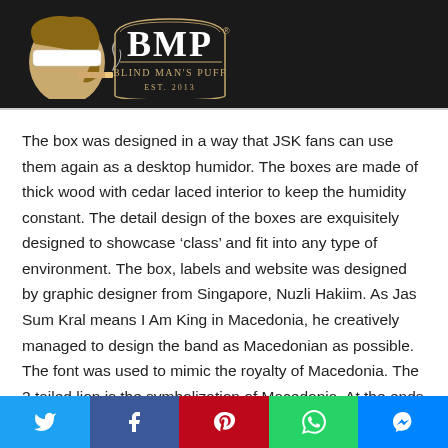[Figure (logo): Blind Man's Puff (BMP) logo with blindfolded man smoking cigar and ornate BMP text, EST. 2013, on dark background header with moon, search, and menu icons]
The box was designed in a way that JSK fans can use them again as a desktop humidor. The boxes are made of thick wood with cedar laced interior to keep the humidity constant. The detail design of the boxes are exquisitely designed to showcase ‘class’ and fit into any type of environment. The box, labels and website was designed by graphic designer from Singapore, Nuzli Hakiim. As Jas Sum Kral means I Am King in Macedonia, he creatively managed to design the band as Macedonian as possible. The font was used to mimic the royalty of Macedonia. The 2 tailed lion is the symbolization of Macedonia. At the ends of the bands, he manage to incorporate the traditional costume of Macedonia.
[Figure (infographic): Social share bar with Twitter (blue), Facebook (dark blue), Pinterest (red), WhatsApp (green), and Messenger (blue) buttons]